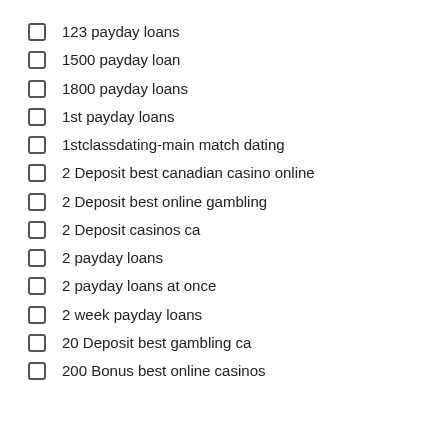123 payday loans
1500 payday loan
1800 payday loans
1st payday loans
1stclassdating-main match dating
2 Deposit best canadian casino online
2 Deposit best online gambling
2 Deposit casinos ca
2 payday loans
2 payday loans at once
2 week payday loans
20 Deposit best gambling ca
200 Bonus best online casinos